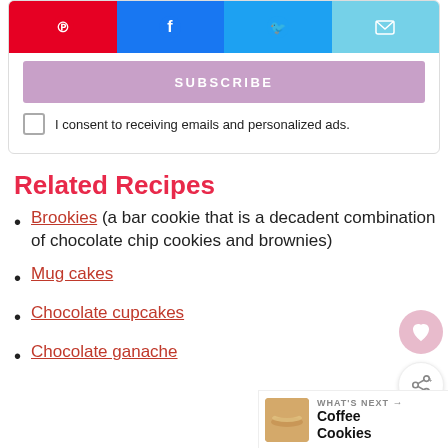[Figure (other): Social share buttons row: Pinterest (red), Facebook (blue), Twitter (light blue), Email (light blue)]
SUBSCRIBE
I consent to receiving emails and personalized ads.
Related Recipes
Brookies (a bar cookie that is a decadent combination of chocolate chip cookies and brownies)
Mug cakes
Chocolate cupcakes
Chocolate ganache
[Figure (other): What's Next widget showing Coffee Cookies with a thumbnail image]